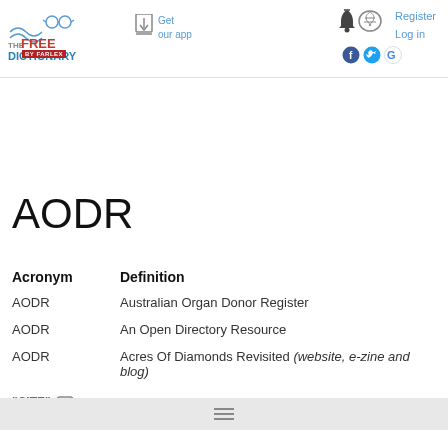The Free Dictionary by Farlex | Get our app | Register | Log in
AODR
| Acronym | Definition |
| --- | --- |
| AODR | Australian Organ Donor Register |
| AODR | An Open Directory Resource |
| AODR | Acres Of Diamonds Revisited (website, e-zine and blog) |
"CITE" Copyright 1988-2018 AcronymFinder.com, All rights reserved.